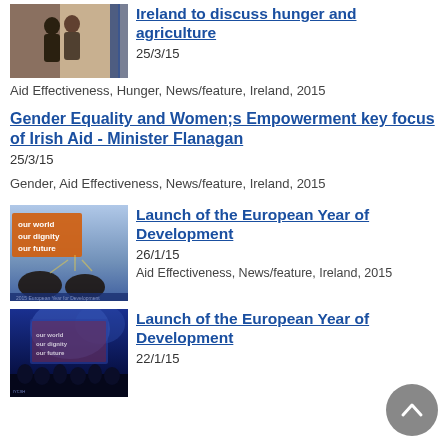[Figure (photo): Two men shaking hands in front of flags]
Ireland to discuss hunger and agriculture
25/3/15
Aid Effectiveness, Hunger, News/feature, Ireland, 2015
Gender Equality and Women;s Empowerment key focus of Irish Aid - Minister Flanagan
25/3/15
Gender, Aid Effectiveness, News/feature, Ireland, 2015
[Figure (photo): Our world our dignity our future - European Year for Development poster with silhouetted hands]
Launch of the European Year of Development
26/1/15
Aid Effectiveness, News/feature, Ireland, 2015
[Figure (photo): Event stage with blue lighting and audience silhouettes]
Launch of the European Year of Development
22/1/15